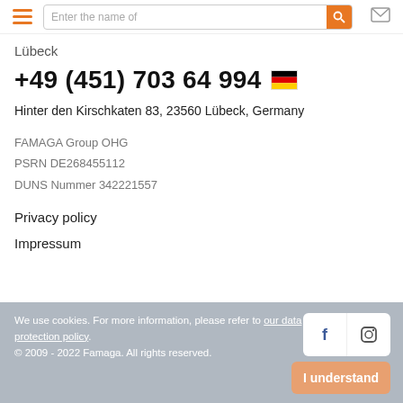Navigation header with hamburger menu, search bar, and mail icon
Lübeck
+49 (451) 703 64 994
Hinter den Kirschkaten 83, 23560 Lübeck, Germany
FAMAGA Group OHG
PSRN DE268455112
DUNS Nummer 342221557
Privacy policy
Impressum
We use cookies. For more information, please refer to our data protection policy.
© 2009 - 2022 Famaga. All rights reserved.